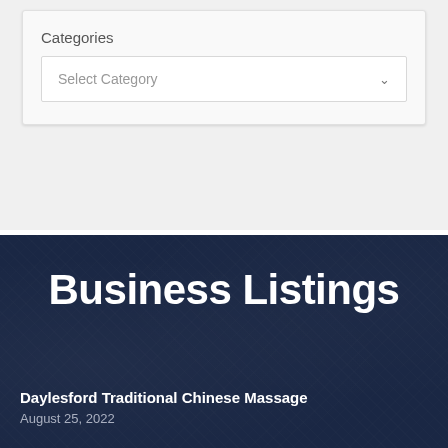Categories
Select Category
Business Listings
Daylesford Traditional Chinese Massage
August 25, 2022